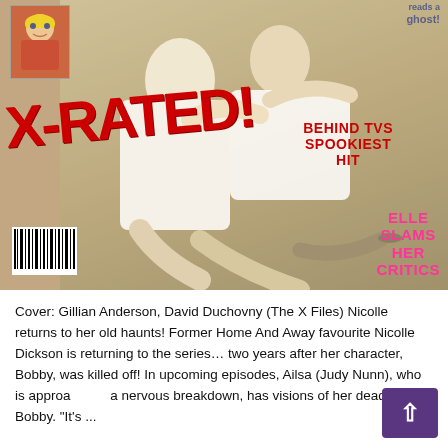[Figure (photo): Magazine cover featuring Gillian Anderson and David Duchovny from The X Files. Large red 'X-RATED!' text overlaid. Headline reads 'BEHIND TVS SPOOKIEST HIT'. Pink text reads 'ELLE SLAMS HER CRITICS'. Small anime thumbnail top left. Barcode bottom left. Blue text 'ghost!' visible top right.]
Cover: Gillian Anderson, David Duchovny (The X Files) Nicolle returns to her old haunts! Former Home And Away favourite Nicolle Dickson is returning to the series… two years after her character, Bobby, was killed off! In upcoming episodes, Ailsa (Judy Nunn), who is approaching a nervous breakdown, has visions of her dead friend, Bobby. "It's ...